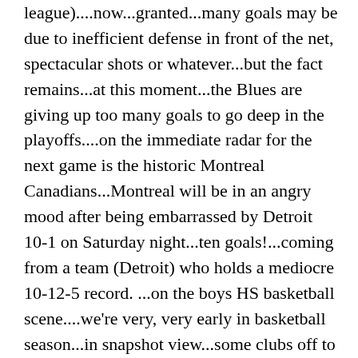league)....now...granted...many goals may be due to inefficient defense in front of the net, spectacular shots or whatever...but the fact remains...at this moment...the Blues are giving up too many goals to go deep in the playoffs....on the immediate radar for the next game is the historic Montreal Canadians...Montreal will be in an angry mood after being embarrassed by Detroit 10-1 on Saturday night...ten goals!...coming from a team (Detroit) who holds a mediocre 10-12-5 record. ...on the boys HS basketball scene....we're very, very early in basketball season...in snapshot view...some clubs off to a good start.. In North County...Hazelwood Central & McCluer North are each 3-0, Parkway Central3-0) who won the Parkway round-robin looks to return to the MSHSAA State Tournament again this year. St. Mary's 6-0-won